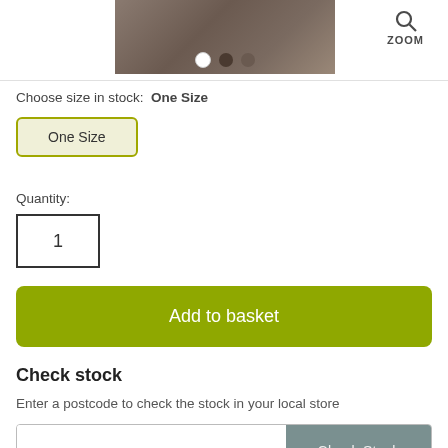[Figure (photo): Partial product image (rocky/textured surface with 'EXTRE...' text visible) with navigation dots and a ZOOM button to the right]
Choose size in stock:  One Size
One Size
Quantity:
1
Add to basket
Check stock
Enter a postcode to check the stock in your local store
Check Stock